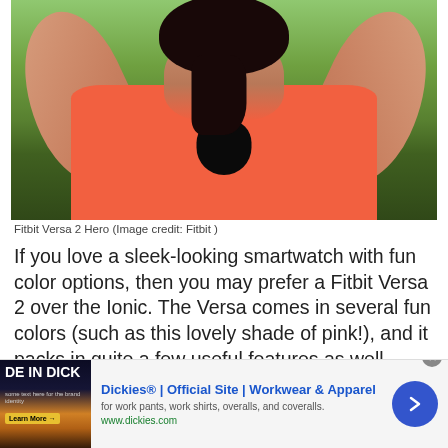[Figure (photo): Person in orange workout top from behind with arms raised, viewed outdoors with trees in background. Fitbit Versa 2 Hero image.]
Fitbit Versa 2 Hero (Image credit: Fitbit )
If you love a sleek-looking smartwatch with fun color options, then you may prefer a Fitbit Versa 2 over the Ionic. The Versa comes in several fun colors (such as this lovely shade of pink!), and it packs in quite a few useful features as well. When used in conjunction with a smartphone, the Versa will give you reliable GPS guidance, distance and route info, as well as music streaming functionality.
[Figure (screenshot): Advertisement for Dickies Official Site - Workwear & Apparel. Shows 'DE IN DICK' text with sunset image on left, Dickies brand link and description in center, blue arrow button on right.]